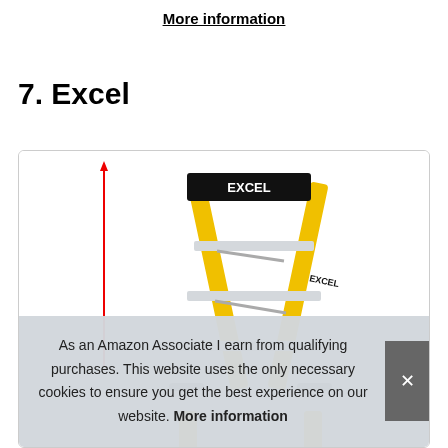More information
7. Excel
[Figure (photo): Yellow Excel brand fiberglass step ladder photographed against white background, with red vertical measurement arrow on the left side and EXCEL branding on the top cap and rails.]
As an Amazon Associate I earn from qualifying purchases. This website uses the only necessary cookies to ensure you get the best experience on our website. More information